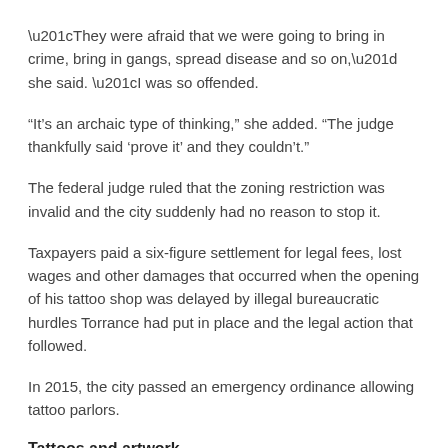“They were afraid that we were going to bring in crime, bring in gangs, spread disease and so on,” she said. “I was so offended.
“It’s an archaic type of thinking,” she added. “The judge thankfully said ‘prove it’ and they couldn’t.”
The federal judge ruled that the zoning restriction was invalid and the city suddenly had no reason to stop it.
Taxpayers paid a six-figure settlement for legal fees, lost wages and other damages that occurred when the opening of his tattoo shop was delayed by illegal bureaucratic hurdles Torrance had put in place and the legal action that followed.
In 2015, the city passed an emergency ordinance allowing tattoo parlors.
Tattoos and artwork